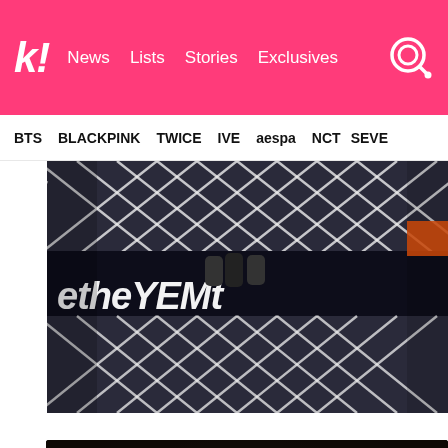k! | News | Lists | Stories | Exclusives
BTS | BLACKPINK | TWICE | IVE | aespa | NCT | SEVE...
[Figure (photo): Close-up of black and white patterned fabric/clothing with graffiti-style text, possibly merchandise or stage costume]
[Figure (photo): Portrait photo of a young person with brown hair, looking down slightly, dark blurred background]